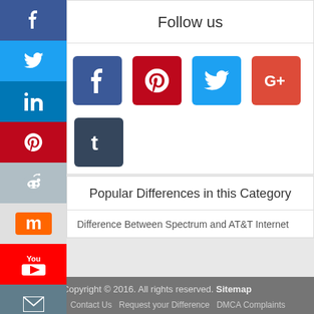Follow us
[Figure (infographic): Social media share buttons row: Facebook (blue), Pinterest (red), Twitter (blue), Google+ (red), Tumblr (dark blue)]
Popular Differences in this Category
Difference Between Spectrum and AT&T Internet
Copyright © 2016. All rights reserved. Sitemap · About Us · Contact Us · Request your Difference · DMCA Complaints